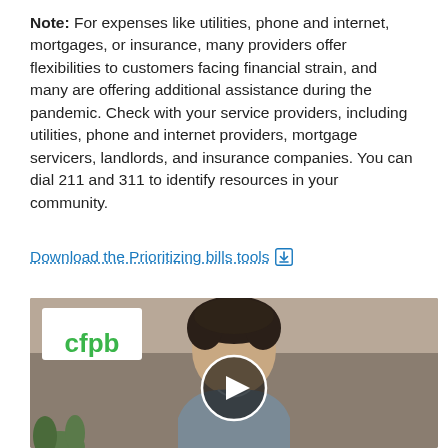Note: For expenses like utilities, phone and internet, mortgages, or insurance, many providers offer flexibilities to customers facing financial strain, and many are offering additional assistance during the pandemic. Check with your service providers, including utilities, phone and internet providers, mortgage servicers, landlords, and insurance companies. You can dial 211 and 311 to identify resources in your community.
Download the Prioritizing bills tools
[Figure (screenshot): CFPB video thumbnail showing a person with dark hair in front of a neutral background, with the CFPB logo in the upper left corner and a play button overlay in the center.]